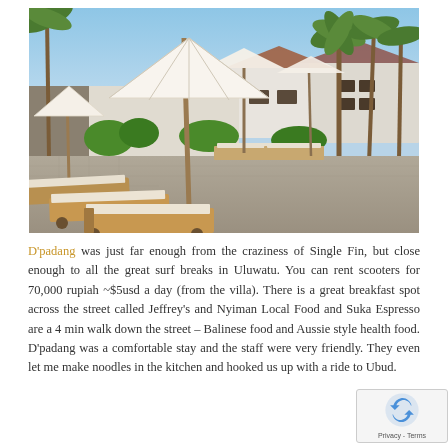[Figure (photo): Outdoor swimming pool at a Bali villa (D'padang). Wooden sun loungers with white cushions line the poolside in the foreground. Large white parasols shade the pool deck. Tropical palm trees and villa buildings are visible in the background under a blue sky.]
D'padang was just far enough from the craziness of Single Fin, but close enough to all the great surf breaks in Uluwatu. You can rent scooters for 70,000 rupiah ~$5usd a day (from the villa). There is a great breakfast spot across the street called Jeffrey's and Nyiman Local Food and Suka Espresso are a 4 min walk down the street – Balinese food and Aussie style health food. D'padang was a comfortable stay and the staff were very friendly. They even let me make noodles in the kitchen and hooked us up with a ride to Ubud.